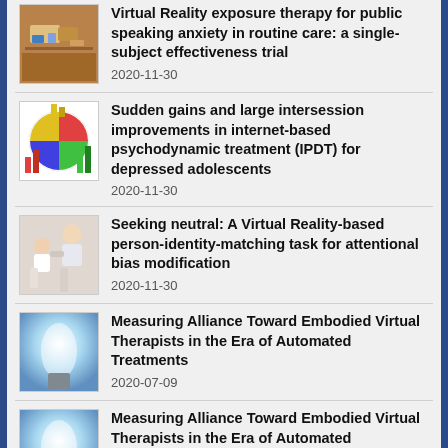Virtual Reality exposure therapy for public speaking anxiety in routine care: a single-subject effectiveness trial
2020-11-30
Sudden gains and large intersession improvements in internet-based psychodynamic treatment (IPDT) for depressed adolescents
2020-11-30
Seeking neutral: A Virtual Reality-based person-identity-matching task for attentional bias modification
2020-11-30
Measuring Alliance Toward Embodied Virtual Therapists in the Era of Automated Treatments
2020-07-09
Measuring Alliance Toward Embodied Virtual Therapists in the Era of Automated Treatments
2020-07-09
Internet Interventions for Adults with Anxiety and